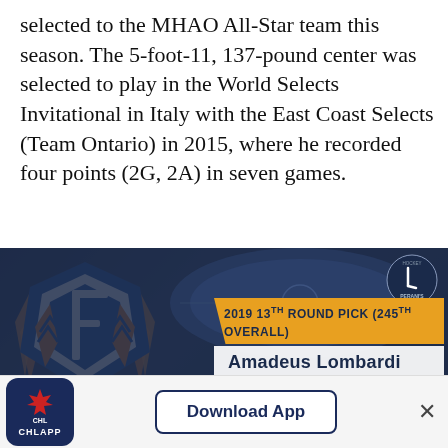selected to the MHAO All-Star team this season. The 5-foot-11, 137-pound center was selected to play in the World Selects Invitational in Italy with the East Coast Selects (Team Ontario) in 2015, where he recorded four points (2G, 2A) in seven games.
[Figure (photo): Hockey draft card showing a Flint Firebirds team logo (blue/orange/white winged logo) over a hockey rink aerial photo background. Orange banner reads '2019 13th ROUND PICK (245th OVERALL)' and white banner reads 'Amadeus Lombardi'. Perani's Hockey World logo in top right corner.]
Download App